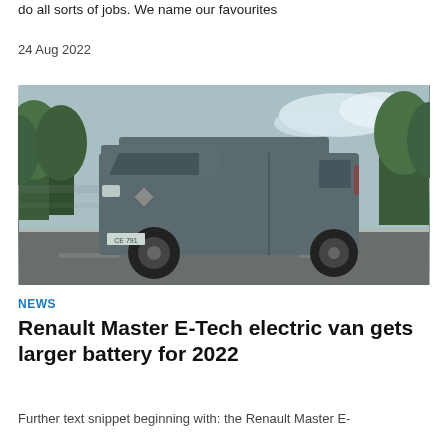do all sorts of jobs. We name our favourites
24 Aug 2022
[Figure (photo): A dark grey Renault Master van driving on a curved road with trees in the background, motion blur visible.]
NEWS
Renault Master E-Tech electric van gets larger battery for 2022
Further text snippet beginning with: the Renault Master E-